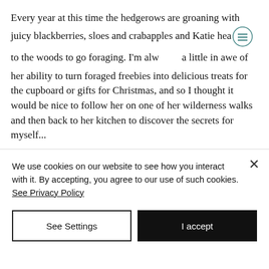Every year at this time the hedgerows are groaning with juicy blackberries, sloes and crabapples and Katie heads to the woods to go foraging. I'm always a little in awe of her ability to turn foraged freebies into delicious treats for the cupboard or gifts for Christmas, and so I thought it would be nice to follow her on one of her wilderness walks and then back to her kitchen to discover the secrets for myself...
We use cookies on our website to see how you interact with it. By accepting, you agree to our use of such cookies. See Privacy Policy
See Settings
I accept